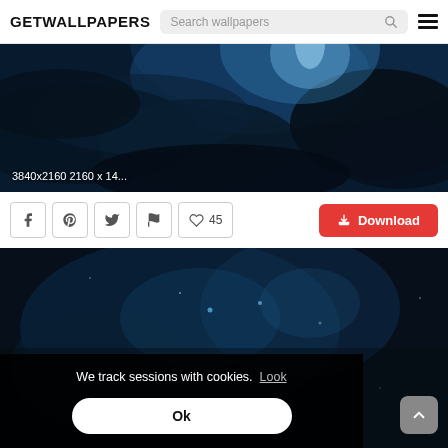GETWALLPAPERS — Search wallpapers
[Figure (photo): Dark blue stormy sky wallpaper with lightning, labeled '3840x2160 2160 x 14...']
3840x2160 2160 x 14...
Facebook icon, Pinterest icon, Twitter icon, Flag icon, ♡ 45, Download button
[Figure (photo): Dark space/nebula wallpaper with blue tones and stars]
We track sessions with cookies. Look
Ok